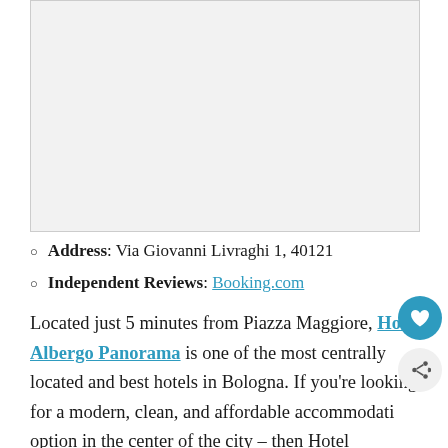[Figure (photo): Hotel photo placeholder, light gray rectangle]
Address: Via Giovanni Livraghi 1, 40121
Independent Reviews: Booking.com
Located just 5 minutes from Piazza Maggiore, Hotel Albergo Panorama is one of the most centrally located and best hotels in Bologna. If you're looking for a modern, clean, and affordable accommodati option in the center of the city – then Hotel